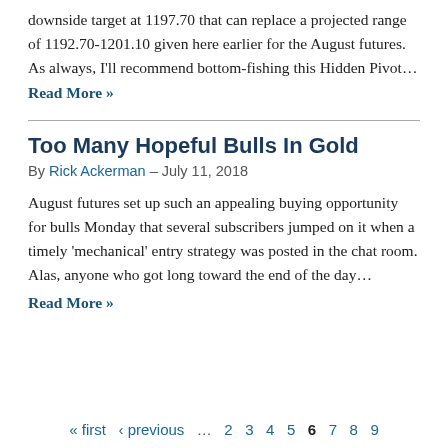downside target at 1197.70 that can replace a projected range of 1192.70-1201.10 given here earlier for the August futures. As always, I'll recommend bottom-fishing this Hidden Pivot…
Read More »
Too Many Hopeful Bulls In Gold
By Rick Ackerman – July 11, 2018
August futures set up such an appealing buying opportunity for bulls Monday that several subscribers jumped on it when a timely 'mechanical' entry strategy was posted in the chat room. Alas, anyone who got long toward the end of the day…
Read More »
« first  ‹ previous  …  2  3  4  5  6  7  8  9